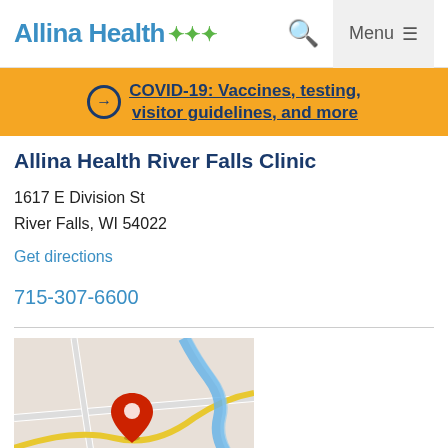Allina Health — Menu
COVID-19: Vaccines, testing, visitor guidelines, and more
Allina Health River Falls Clinic
1617 E Division St
River Falls, WI 54022
Get directions
715-307-6600
[Figure (map): Google Maps screenshot showing location of Allina Health River Falls Clinic with a red location pin marker, blue river visible, and road lines.]